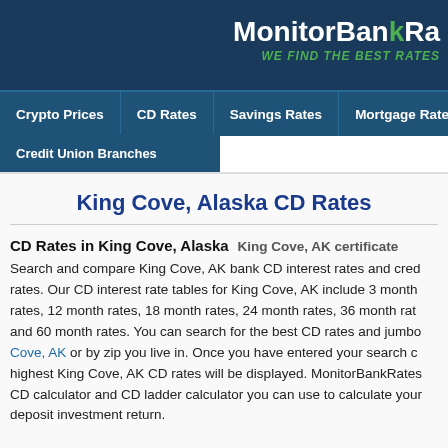MonitorBankRates WE FIND THE BEST RATES
Crypto Prices | CD Rates | Savings Rates | Mortgage Rates | Credit Union Branches
King Cove, Alaska CD Rates
CD Rates in King Cove, Alaska  King Cove, AK certificate
Search and compare King Cove, AK bank CD interest rates and credit union CD rates. Our CD interest rate tables for King Cove, AK include 3 month rates, 12 month rates, 18 month rates, 24 month rates, 36 month rates and 60 month rates. You can search for the best CD rates and jumbo CD rates in King Cove, AK or by zip you live in. Once you have entered your search criteria the highest King Cove, AK CD rates will be displayed. MonitorBankRates also has a CD calculator and CD ladder calculator you can use to calculate your certificate of deposit investment return.